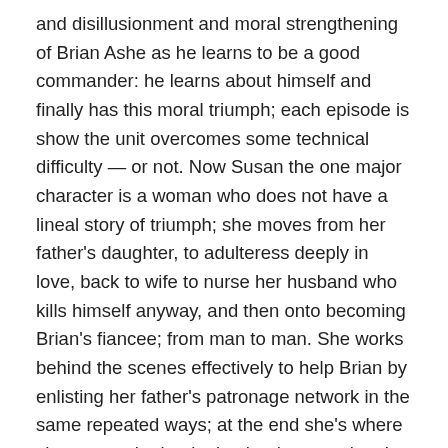and disillusionment and moral strengthening of Brian Ashe as he learns to be a good commander: he learns about himself and finally has this moral triumph; each episode is show the unit overcomes some technical difficulty — or not. Now Susan the one major character is a woman who does not have a lineal story of triumph; she moves from her father's daughter, to adulteress deeply in love, back to wife to nurse her husband who kills himself anyway, and then onto becoming Brian's fiancee; from man to man. She works behind the scenes effectively to help Brian by enlisting her father's patronage network in the same repeated ways; at the end she's where she was at the beginning but her emotional and moral life is so much more satisfying. Like Ashe's batman, Salt (after the death of his wife from a bombing) becomes involved with less respectable woman, a music hall entertainer who we later